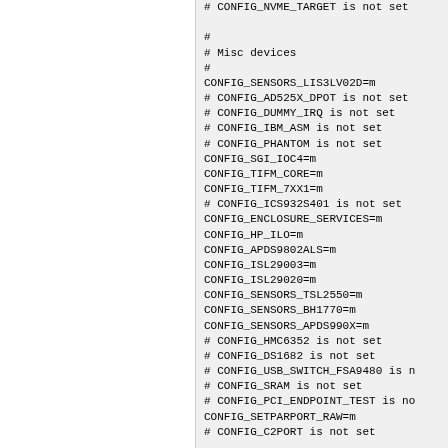# CONFIG_NVME_TARGET is not set
#
# Misc devices
#
CONFIG_SENSORS_LIS3LV02D=m
# CONFIG_AD525X_DPOT is not set
# CONFIG_DUMMY_IRQ is not set
# CONFIG_IBM_ASM is not set
# CONFIG_PHANTOM is not set
CONFIG_SGI_IOC4=m
CONFIG_TIFM_CORE=m
CONFIG_TIFM_7XX1=m
# CONFIG_ICS932S401 is not set
CONFIG_ENCLOSURE_SERVICES=m
CONFIG_HP_ILO=m
CONFIG_APDS9802ALS=m
CONFIG_ISL29003=m
CONFIG_ISL29020=m
CONFIG_SENSORS_TSL2550=m
CONFIG_SENSORS_BH1770=m
CONFIG_SENSORS_APDS990X=m
# CONFIG_HMC6352 is not set
# CONFIG_DS1682 is not set
# CONFIG_USB_SWITCH_FSA9480 is not set
# CONFIG_SRAM is not set
# CONFIG_PCI_ENDPOINT_TEST is not set
CONFIG_SETPARPORT_RAW=m
# CONFIG_C2PORT is not set
#
# EEPROM support
#